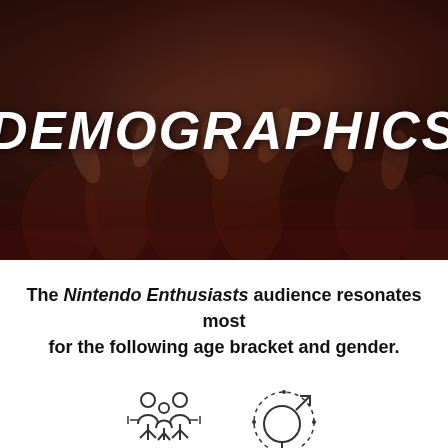[Figure (photo): Blurred photo of a crowd of people clapping/cheering, warm brown and red tones, cinema or event setting]
DEMOGRAPHICS
The Nintendo Enthusiasts audience resonates most for the following age bracket and gender.
[Figure (infographic): Two icons: a family/people group icon and a gender symbol icon (combined male/female)]